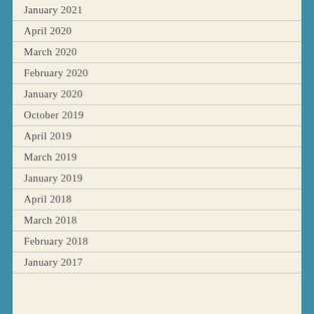January 2021
April 2020
March 2020
February 2020
January 2020
October 2019
April 2019
March 2019
January 2019
April 2018
March 2018
February 2018
January 2017